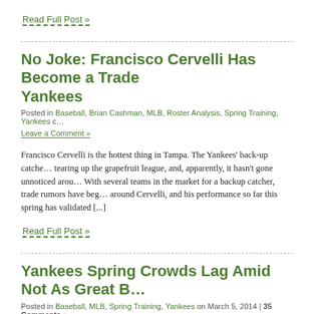Read Full Post »
No Joke: Francisco Cervelli Has Become a Trade… Yankees
Posted in Baseball, Brian Cashman, MLB, Roster Analysis, Spring Training, Yankees c… Leave a Comment »
Francisco Cervelli is the hottest thing in Tampa. The Yankees' back-up catcher is tearing up the grapefruit league, and, apparently, it hasn't gone unnoticed around. With several teams in the market for a backup catcher, trade rumors have begun around Cervelli, and his performance so far this spring has validated [...]
Read Full Post »
Yankees Spring Crowds Lag Amid Not As Great B…
Posted in Baseball, MLB, Spring Training, Yankees on March 5, 2014 | 35 Comments »
With 26 non-roster players invited to camp, the Yankees' clubhouse in Tampa…